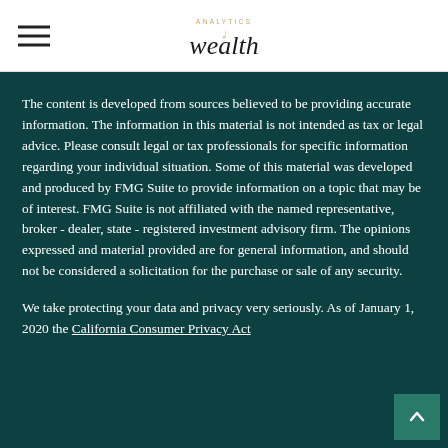wealth analytics
The content is developed from sources believed to be providing accurate information. The information in this material is not intended as tax or legal advice. Please consult legal or tax professionals for specific information regarding your individual situation. Some of this material was developed and produced by FMG Suite to provide information on a topic that may be of interest. FMG Suite is not affiliated with the named representative, broker - dealer, state - registered investment advisory firm. The opinions expressed and material provided are for general information, and should not be considered a solicitation for the purchase or sale of any security.
We take protecting your data and privacy very seriously. As of January 1, 2020 the California Consumer Privacy Act